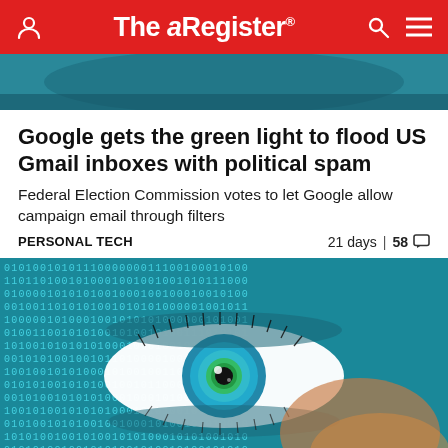The Register
[Figure (photo): Partial top image - teal/blue background article image cropped at top]
Google gets the green light to flood US Gmail inboxes with political spam
Federal Election Commission votes to let Google allow campaign email through filters
PERSONAL TECH   21 days | 58 comments
[Figure (photo): Close-up of a human eye with blue/green iris surrounded by binary code digits (0s and 1s) on a teal background, suggesting digital surveillance or data themes]